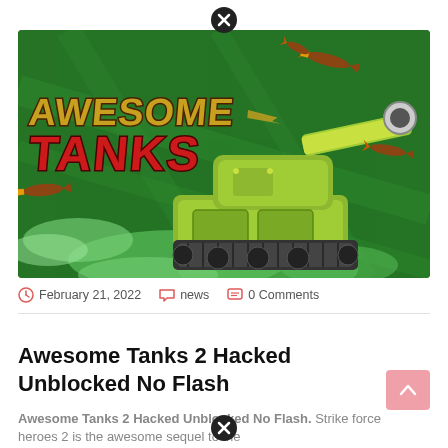[Figure (illustration): Cartoon-style game banner for 'Awesome Tanks' showing a green military tank with a long barrel, surrounded by rockets/missiles and green smoke on a dark green background. Gold and red stylized text 'AWESOME TANKS' on the left side.]
February 21, 2022   news   0 Comments
Awesome Tanks 2 Hacked Unblocked No Flash
Awesome Tanks 2 Hacked Unblocked No Flash. Strike force heroes 2 is the awesome sequel to the